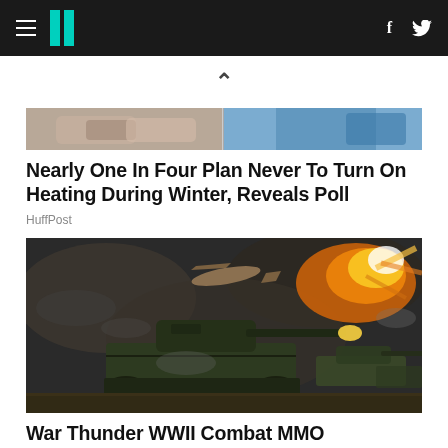HuffPost navigation with hamburger menu, logo, Facebook and Twitter icons
[Figure (photo): Partial image of hands on a surface, cropped — top of article image for heating poll story]
Nearly One In Four Plan Never To Turn On Heating During Winter, Reveals Poll
HuffPost
[Figure (photo): Video game screenshot showing WWII military tanks in combat with explosions, smoke, and a plane flying overhead — War Thunder game art]
War Thunder WWII Combat MMO